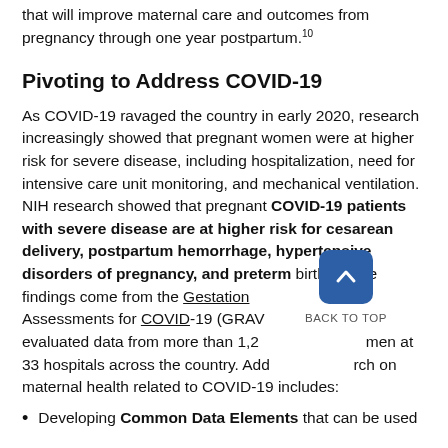that will improve maternal care and outcomes from pregnancy through one year postpartum.10
Pivoting to Address COVID-19
As COVID-19 ravaged the country in early 2020, research increasingly showed that pregnant women were at higher risk for severe disease, including hospitalization, need for intensive care unit monitoring, and mechanical ventilation. NIH research showed that pregnant COVID-19 patients with severe disease are at higher risk for cesarean delivery, postpartum hemorrhage, hypertensive disorders of pregnancy, and preterm birth. These findings come from the Gestational Research Assessments for COVID-19 (GRAVID) study, which evaluated data from more than 1,200 pregnant women at 33 hospitals across the country. Additional research on maternal health related to COVID-19 includes:
Developing Common Data Elements that can be used